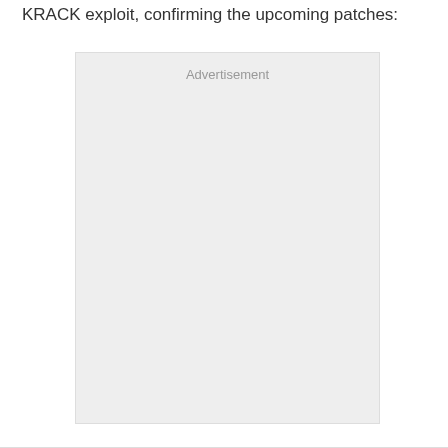KRACK exploit, confirming the upcoming patches:
[Figure (other): Advertisement placeholder box with light gray background and 'Advertisement' label text centered near the top]